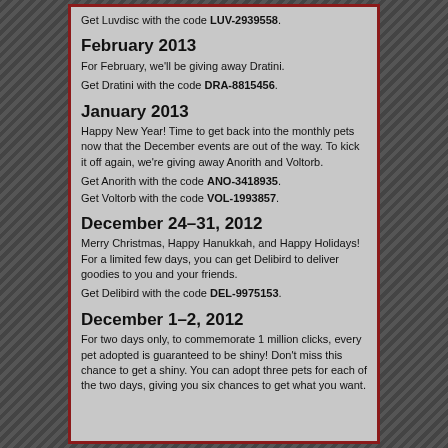Get Luvdisc with the code LUV-2939558.
February 2013
For February, we'll be giving away Dratini.
Get Dratini with the code DRA-8815456.
January 2013
Happy New Year! Time to get back into the monthly pets now that the December events are out of the way. To kick it off again, we're giving away Anorith and Voltorb.
Get Anorith with the code ANO-3418935.
Get Voltorb with the code VOL-1993857.
December 24–31, 2012
Merry Christmas, Happy Hanukkah, and Happy Holidays! For a limited few days, you can get Delibird to deliver goodies to you and your friends.
Get Delibird with the code DEL-9975153.
December 1–2, 2012
For two days only, to commemorate 1 million clicks, every pet adopted is guaranteed to be shiny! Don't miss this chance to get a shiny. You can adopt three pets for each of the two days, giving you six chances to get what you want.